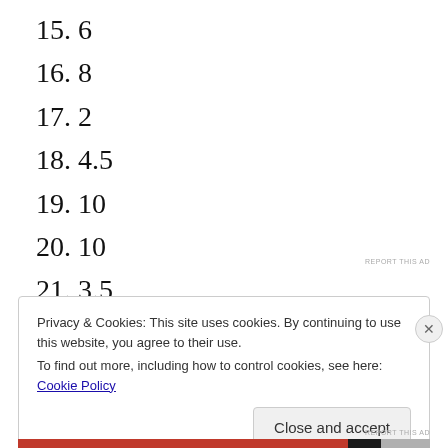15. 6
16. 8
17. 2
18. 4.5
19. 10
20. 10
21. 3.5
22. 6.5
REPORT THIS AD
Privacy & Cookies: This site uses cookies. By continuing to use this website, you agree to their use.
To find out more, including how to control cookies, see here: Cookie Policy
Close and accept